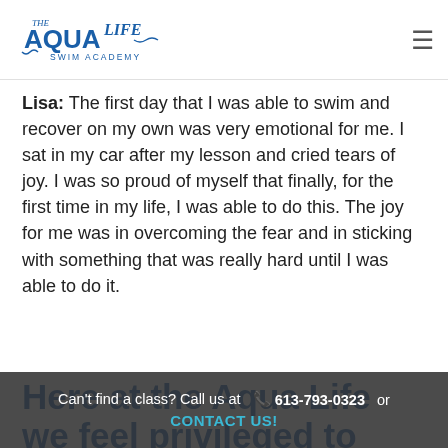The Aqua Life Swim Academy
Lisa: The first day that I was able to swim and recover on my own was very emotional for me. I sat in my car after my lesson and cried tears of joy. I was so proud of myself that finally, for the first time in my life, I was able to do this. The joy for me was in overcoming the fear and in sticking with something that was really hard until I was able to do it.
Here at the Aqua Life we feel privileged to guide and cheer on adult learners like Lisa. Her experience shows that, if you stick with it, even the
Can't find a class? Call us at 📞 613-793-0323 or CONTACT US!